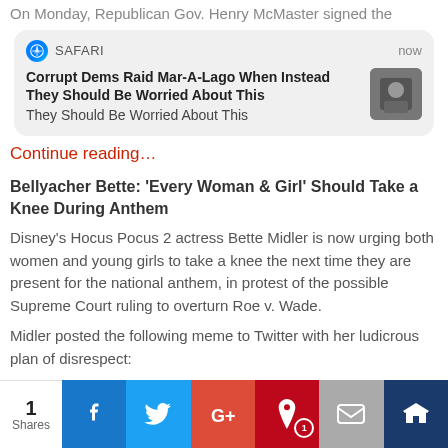On Monday, Republican Gov. Henry McMaster signed the
[Figure (screenshot): Safari browser push notification overlay showing headline: 'Corrupt Dems Raid Mar-A-Lago When Instead They Should Be Worried About This' with a thumbnail photo]
Continue reading…
Bellyacher Bette: 'Every Woman & Girl' Should Take a Knee During Anthem
Disney's Hocus Pocus 2 actress Bette Midler is now urging both women and young girls to take a knee the next time they are present for the national anthem, in protest of the possible Supreme Court ruling to overturn Roe v. Wade.
Midler posted the following meme to Twitter with her ludicrous plan of disrespect:
[Figure (infographic): Social sharing bar with share counts: 1 Shares, Facebook, Twitter, Google+, Pinterest (1), Mail, Crown icon buttons]